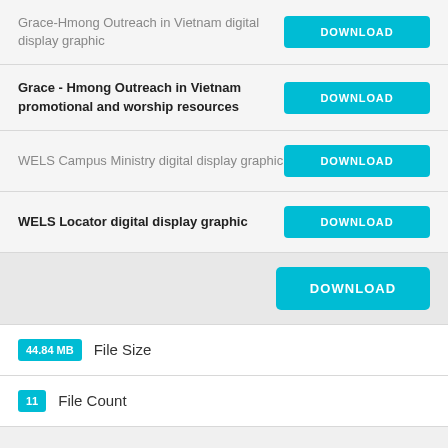Grace-Hmong Outreach in Vietnam digital display graphic
Grace - Hmong Outreach in Vietnam promotional and worship resources
WELS Campus Ministry digital display graphic
WELS Locator digital display graphic
DOWNLOAD (bulk download row)
44.84 MB File Size
11 File Count